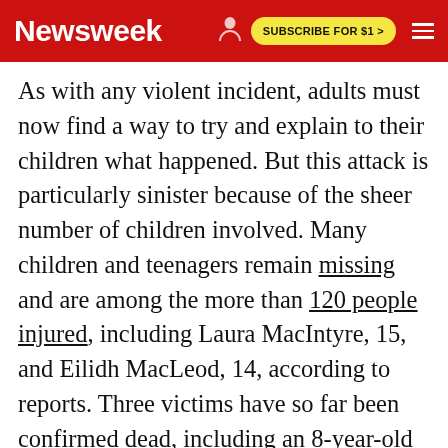Newsweek | SUBSCRIBE FOR $1 >
As with any violent incident, adults must now find a way to try and explain to their children what happened. But this attack is particularly sinister because of the sheer number of children involved. Many children and teenagers remain missing and are among the more than 120 people injured, including Laura MacIntyre, 15, and Eilidh MacLeod, 14, according to reports. Three victims have so far been confirmed dead, including an 8-year-old girl.